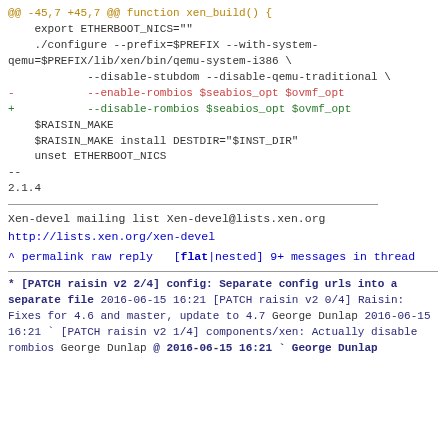@@ -45,7 +45,7 @@ function xen_build() {
    export ETHERBOOT_NICS=""
    ./configure --prefix=$PREFIX --with-system-qemu=$PREFIX/lib/xen/bin/qemu-system-i386 \
            --disable-stubdom --disable-qemu-traditional \
-           --enable-rombios $seabios_opt $ovmf_opt
+           --disable-rombios $seabios_opt $ovmf_opt
    $RAISIN_MAKE
    $RAISIN_MAKE install DESTDIR="$INST_DIR"
    unset ETHERBOOT_NICS
--
2.1.4
Xen-devel mailing list
Xen-devel@lists.xen.org
http://lists.xen.org/xen-devel
^ permalink raw reply  [flat|nested] 9+ messages in thread
* [PATCH raisin v2 2/4] config: Separate config urls into a separate file
  2016-06-15 16:21 [PATCH raisin v2 0/4] Raisin: Fixes for 4.6 and master, update to 4.7 George Dunlap
    2016-06-15 16:21 ` [PATCH raisin v2 1/4] components/xen: Actually disable rombios George Dunlap
@ 2016-06-15 16:21 ` George Dunlap